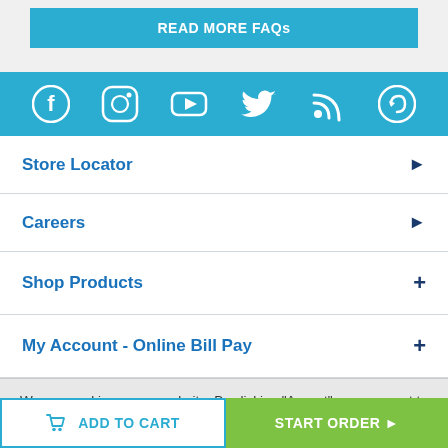READ MORE FAQs
[Figure (infographic): Social media icons bar: Facebook, Instagram, YouTube, Twitter, RSS, and a circular arrow/back icon, white on teal background]
Store Locator ▶
Careers ▶
Shop Products +
My Account - Online Bill Pay +
We use cookies on our website. By clicking "Accept", you consent to the use of All the cookies. You may change your preference by
ADD TO CART
START ORDER ▶